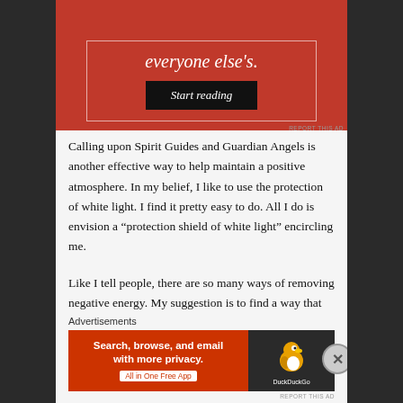[Figure (screenshot): Red advertisement banner with white bordered inner box showing italic text and a 'Start reading' black button]
Calling upon Spirit Guides and Guardian Angels is another effective way to help maintain a positive atmosphere. In my belief, I like to use the protection of white light. I find it pretty easy to do. All I do is envision a “protection shield of white light” encircling me.
Like I tell people, there are so many ways of removing negative energy. My suggestion is to find a way that works and practice it. Find comfort with it and know deep within the heart that there is empowerment in all that is positive.
Advertisements
[Figure (screenshot): DuckDuckGo advertisement banner: orange-red background with text 'Search, browse, and email with more privacy. All in One Free App' and DuckDuckGo duck logo on dark right panel]